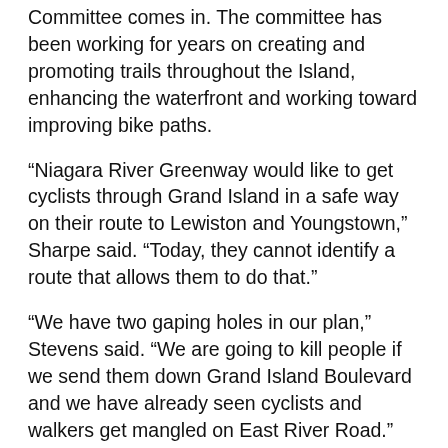Committee comes in. The committee has been working for years on creating and promoting trails throughout the Island, enhancing the waterfront and working toward improving bike paths.
“Niagara River Greenway would like to get cyclists through Grand Island in a safe way on their route to Lewiston and Youngstown,” Sharpe said. “Today, they cannot identify a route that allows them to do that.”
“We have two gaping holes in our plan,” Stevens said. “We are going to kill people if we send them down Grand Island Boulevard and we have already seen cyclists and walkers get mangled on East River Road.”
He said the ideal route for bikers coming off either bridge would be to follow Grand Island Boulevard through town. A second would be to follow East River Road and the third is the new West River Trail.
“The main sidewalk on Grand Island Boulevard and the